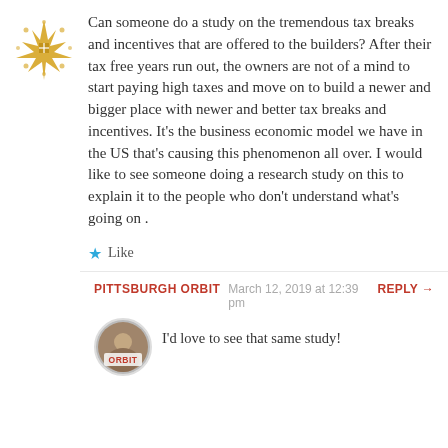[Figure (illustration): Gold/amber star/snowflake decorative avatar icon]
Can someone do a study on the tremendous tax breaks and incentives that are offered to the builders? After their tax free years run out, the owners are not of a mind to start paying high taxes and move on to build a newer and bigger place with newer and better tax breaks and incentives. It's the business economic model we have in the US that's causing this phenomenon all over. I would like to see someone doing a research study on this to explain it to the people who don't understand what's going on .
★ Like
PITTSBURGH ORBIT   March 12, 2019 at 12:39 pm   REPLY →
[Figure (photo): Circular avatar photo with 'ORBIT' text label, showing a person or object]
I'd love to see that same study!